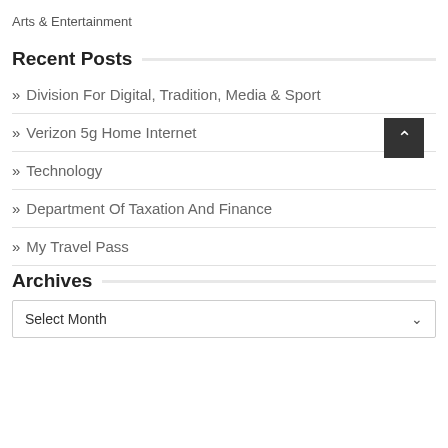Arts & Entertainment
Recent Posts
» Division For Digital, Tradition, Media & Sport
» Verizon 5g Home Internet
» Technology
» Department Of Taxation And Finance
» My Travel Pass
Archives
Select Month